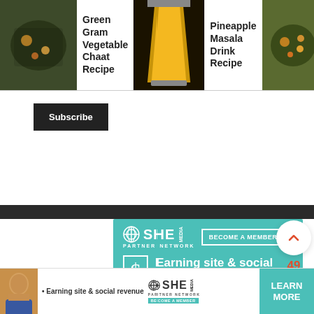[Figure (screenshot): Recipe card thumbnails: Green Gram Vegetable Chaat Recipe, Pineapple Masala Drink Recipe, Boiled Green Peas Chaat Recipe]
Green Gram Vegetable Chaat Recipe
Pineapple Masala Drink Recipe
Boiled Green Peas Chaat Recipe • Z
Subscribe
[Figure (screenshot): Dark band / partial image]
[Figure (infographic): SHE Media Partner Network advertisement. Teal background. Logo: circle graphic + SHE MEDIA / PARTNER NETWORK. Button: BECOME A MEMBER. Dollar sign icon. Text: Earning site & social revenue.]
49
[Figure (infographic): Bottom banner ad: SHE Media Partner Network. Earning site & social revenue. LEARN MORE button.]